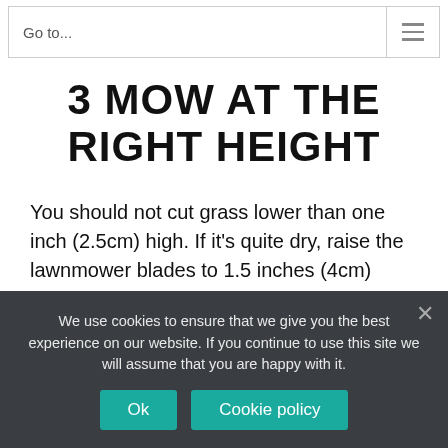Go to...
3 MOW AT THE RIGHT HEIGHT
You should not cut grass lower than one inch (2.5cm) high. If it's quite dry, raise the lawnmower blades to 1.5 inches (4cm) high.
For the first cut of the year, raise the blades
We use cookies to ensure that we give you the best experience on our website. If you continue to use this site we will assume that you are happy with it.